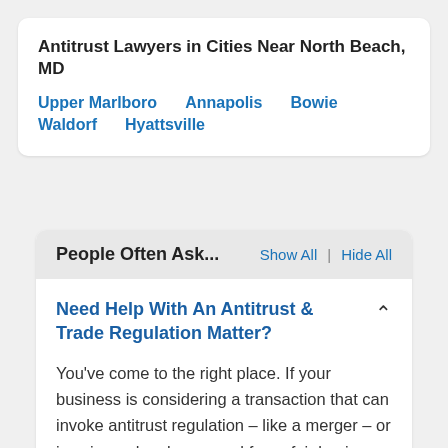Antitrust Lawyers in Cities Near North Beach, MD
Upper Marlboro
Annapolis
Bowie
Waldorf
Hyattsville
People Often Ask...
Show All | Hide All
Need Help With An Antitrust & Trade Regulation Matter?
You've come to the right place. If your business is considering a transaction that can invoke antitrust regulation – like a merger – or is suing or has been sued for unfair business practices – like monopolies, price-fixing, or price discrimination –